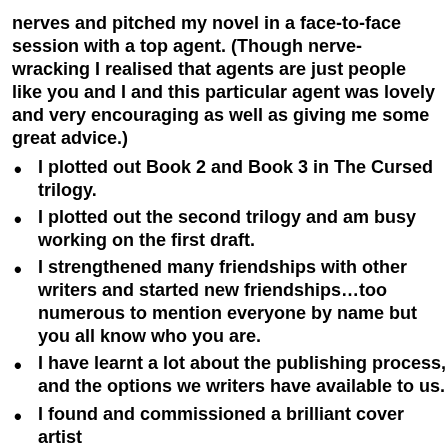nerves and pitched my novel in a face-to-face session with a top agent. (Though nerve-wracking I realised that agents are just people like you and I and this particular agent was lovely and very encouraging as well as giving me some great advice.)
I plotted out Book 2 and Book 3 in The Cursed trilogy.
I plotted out the second trilogy and am busy working on the first draft.
I strengthened many friendships with other writers and started new friendships…too numerous to mention everyone by name but you all know who you are.
I have learnt a lot about the publishing process, and the options we writers have available to us.
I found and commissioned a brilliant cover artist